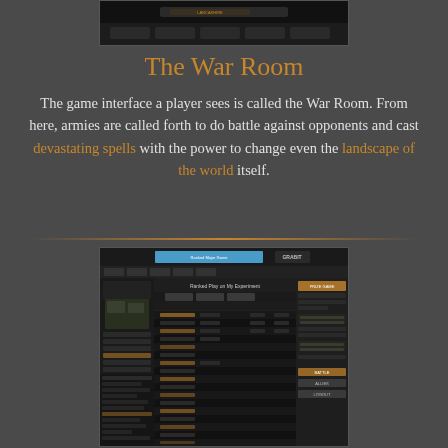[Figure (screenshot): Top screenshot of a game interface header/banner area]
The War Room
The game interface a player sees is called the War Room. From here, armies are called forth to do battle against opponents and cast devastating spells with the power to change even the landscape of the world itself.
[Figure (screenshot): Screenshot of the War Room game interface showing player rankings, chat, and game controls]